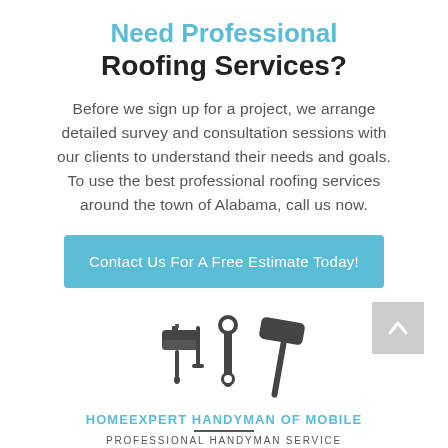Need Professional Roofing Services?
Before we sign up for a project, we arrange detailed survey and consultation sessions with our clients to understand their needs and goals. To use the best professional roofing services around the town of Alabama, call us now.
Contact Us For A Free Estimate Today!
[Figure (logo): HomeExpert Handyman of Mobile logo with paint roller, wrench, and hammer icons]
HOMEEXPERT HANDYMAN OF MOBILE
PROFESSIONAL HANDYMAN SERVICE